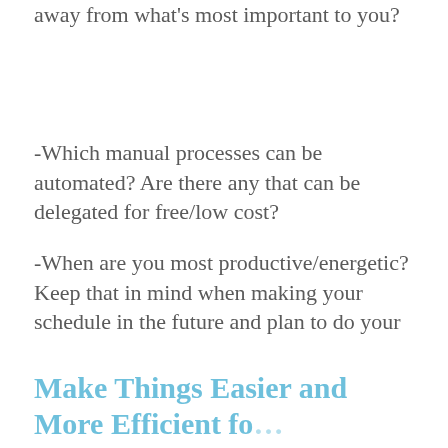away from what's most important to you?
-Which manual processes can be automated? Are there any that can be delegated for free/low cost?
-When are you most productive/energetic? Keep that in mind when making your schedule in the future and plan to do your most important or difficult tasks during those times whenever possible.
Make Things Easier and More Efficient fo…